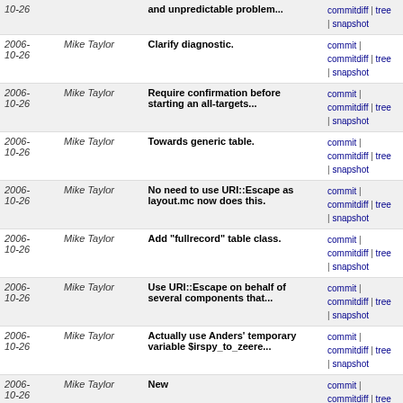| Date | Author | Message | Links |
| --- | --- | --- | --- |
| 2006-10-26 |  | and unpredictable problem... | commitdiff | tree | snapshot |
| 2006-10-26 | Mike Taylor | Clarify diagnostic. | commit | commitdiff | tree | snapshot |
| 2006-10-26 | Mike Taylor | Require confirmation before starting an all-targets... | commit | commitdiff | tree | snapshot |
| 2006-10-26 | Mike Taylor | Towards generic table. | commit | commitdiff | tree | snapshot |
| 2006-10-26 | Mike Taylor | No need to use URI::Escape as layout.mc now does this. | commit | commitdiff | tree | snapshot |
| 2006-10-26 | Mike Taylor | Add "fullrecord" table class. | commit | commitdiff | tree | snapshot |
| 2006-10-26 | Mike Taylor | Use URI::Escape on behalf of several components that... | commit | commitdiff | tree | snapshot |
| 2006-10-26 | Mike Taylor | Actually use Anders' temporary variable $irspy_to_zeere... | commit | commitdiff | tree | snapshot |
| 2006-10-26 | Mike Taylor | New | commit | commitdiff | tree | snapshot |
| 2006-10-26 | Mike Taylor | When actually obtaining the record with $rs->record... | commit | commitdiff | tree | snapshot |
| 2006-10-26 | Anders S. Mortensen | Getting ready to model the irspy xml into zeerex using... | commit | commitdiff | tree | snapshot |
| 2006-10-26 | Mike Taylor | Set databaseName only temporarily within task. | commit | commitdiff | tree | snapshot |
| 2006-10-26 | Mike Taylor | Run correct sequence of tests | commit | commitdiff | tree | snapshot |
| 2006- | Anders S. | Removing duplicated code... | commit | |